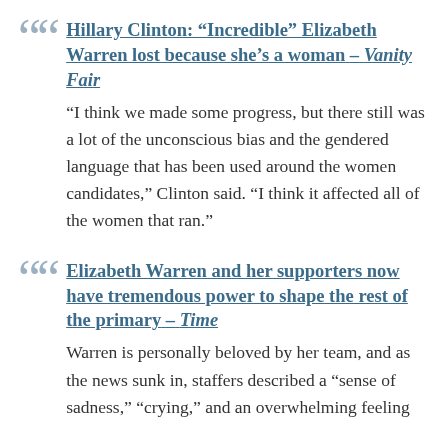Hillary Clinton: “Incredible” Elizabeth Warren lost because she’s a woman – Vanity Fair
“I think we made some progress, but there still was a lot of the unconscious bias and the gendered language that has been used around the women candidates,” Clinton said. “I think it affected all of the women that ran.”
Elizabeth Warren and her supporters now have tremendous power to shape the rest of the primary – Time
Warren is personally beloved by her team, and as the news sunk in, staffers described a “sense of sadness,” “crying,” and an overwhelming feeling